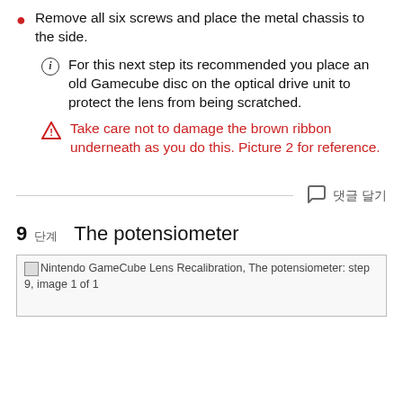Remove all six screws and place the metal chassis to the side.
For this next step its recommended you place an old Gamecube disc on the optical drive unit to protect the lens from being scratched.
Take care not to damage the brown ribbon underneath as you do this. Picture 2 for reference.
9 단계  The potensiometer
[Figure (photo): Nintendo GameCube Lens Recalibration, The potensiometer: step 9, image 1 of 1]